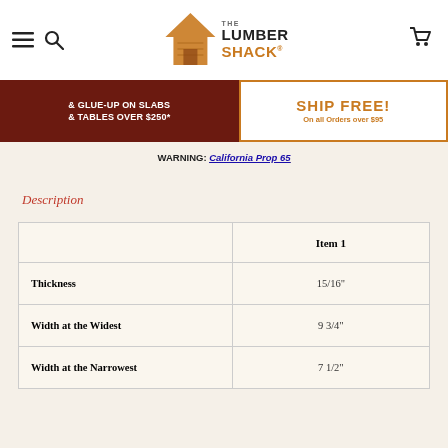[Figure (logo): The Lumber Shack logo with house icon]
[Figure (screenshot): Dark red banner: '& GLUE-UP ON SLABS & TABLES OVER $250*' and orange bordered box: 'On all Orders over $95']
WARNING: California Prop 65
Description
|  | Item 1 |
| --- | --- |
| Thickness | 15/16" |
| Width at the Widest | 9 3/4" |
| Width at the Narrowest | 7 1/2" |